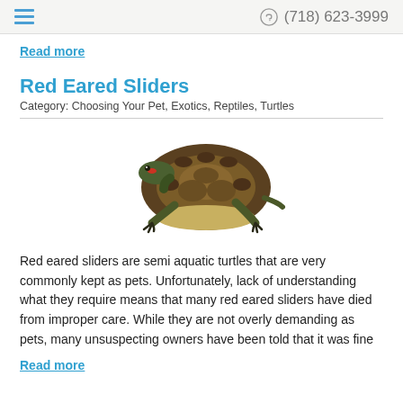(718) 623-3999
Read more
Red Eared Sliders
Category: Choosing Your Pet, Exotics, Reptiles, Turtles
[Figure (photo): Photo of a red eared slider turtle on a white background, viewed from a slightly elevated angle, showing its shell and head.]
Red eared sliders are semi aquatic turtles that are very commonly kept as pets. Unfortunately, lack of understanding what they require means that many red eared sliders have died from improper care. While they are not overly demanding as pets, many unsuspecting owners have been told that it was fine
Read more